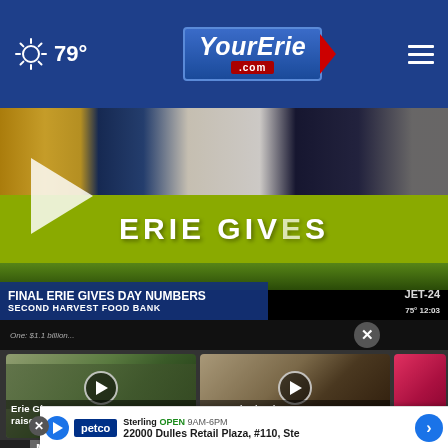79° YourErie.com
[Figure (screenshot): Hero video thumbnail showing Erie Gives Day event with crowd holding yellow-green 'ERIE GIVES' banner. Overlay text reads 'FINAL ERIE GIVES DAY NUMBERS' and 'SECOND HARVEST FOOD BANK' with JET 24 branding.]
FINAL ERIE GIVES DAY NUMBERS — SECOND HARVEST FOOD BANK
[Figure (screenshot): Thumbnail of Erie Gives Day 2022 crowd video with play button overlay]
Erie Gives Day 2022 raises more money...
42 mins ago
[Figure (screenshot): Thumbnail of gag order hearing video with play button overlay showing man in foreground]
Gag order in place during hearing for...
2 hours ago
[Figure (screenshot): Partial thumbnail of third video in red/pink tones]
Meadv... can re...
Sterling OPEN 9AM-6PM 22000 Dulles Retail Plaza, #110, Ste
[Figure (logo): Petco logo in blue square]